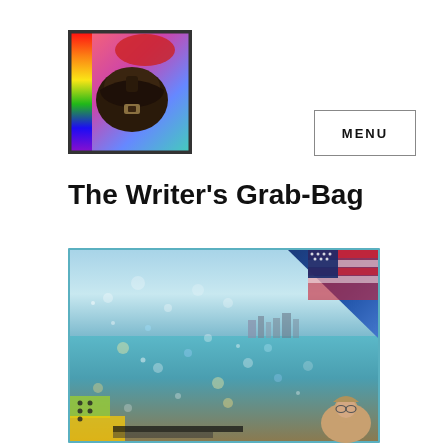[Figure (photo): Logo image of a dark leather bag with colorful background (rainbow/red hues), square format with dark border]
MENU
The Writer's Grab-Bag
[Figure (photo): Large hero photo showing a beach scene with sparkling ocean water, bokeh light effects, a city skyline in the distance, American flag motif in the upper right corner, and a small portrait of a person in the lower right corner]